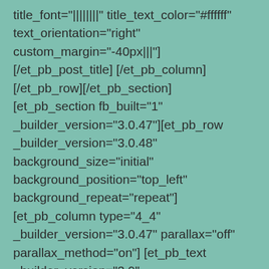title_font="||||||||" title_text_color="#ffffff" text_orientation="right" custom_margin="-40px|||"][/et_pb_post_title][/et_pb_column][/et_pb_row][/et_pb_section][et_pb_section fb_built="1" _builder_version="3.0.47"][et_pb_row _builder_version="3.0.48" background_size="initial" background_position="top_left" background_repeat="repeat"][et_pb_column type="4_4" _builder_version="3.0.47" parallax="off" parallax_method="on"][et_pb_text _builder_version="3.9"